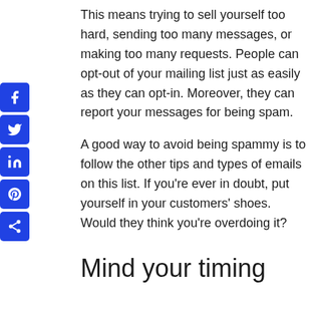This means trying to sell yourself too hard, sending too many messages, or making too many requests. People can opt-out of your mailing list just as easily as they can opt-in. Moreover, they can report your messages for being spam.
A good way to avoid being spammy is to follow the other tips and types of emails on this list. If you're ever in doubt, put yourself in your customers' shoes. Would they think you're overdoing it?
Mind your timing